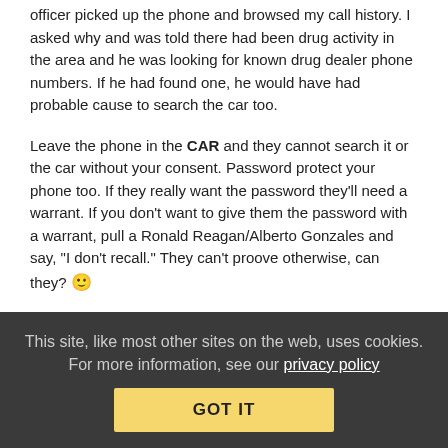officer picked up the phone and browsed my call history. I asked why and was told there had been drug activity in the area and he was looking for known drug dealer phone numbers. If he had found one, he would have had probable cause to search the car too.
Leave the phone in the CAR and they cannot search it or the car without your consent. Password protect your phone too. If they really want the password they'll need a warrant. If you don't want to give them the password with a warrant, pull a Ronald Reagan/Alberto Gonzales and say, "I don't recall." They can't proove otherwise, can they? 🙂
Reply | View in chronology
[Figure (other): Row of icon buttons in circles]
This site, like most other sites on the web, uses cookies. For more information, see our privacy policy GOT IT